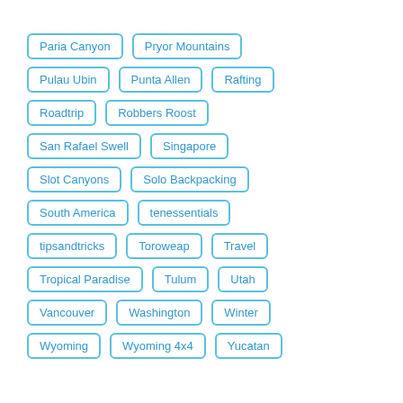Paria Canyon
Pryor Mountains
Pulau Ubin
Punta Allen
Rafting
Roadtrip
Robbers Roost
San Rafael Swell
Singapore
Slot Canyons
Solo Backpacking
South America
tenessentials
tipsandtricks
Toroweap
Travel
Tropical Paradise
Tulum
Utah
Vancouver
Washington
Winter
Wyoming
Wyoming 4x4
Yucatan